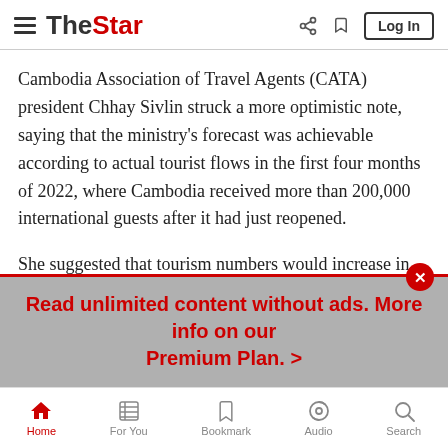The Star — navigation header with hamburger menu, logo, share, bookmark, and Log In button
Cambodia Association of Travel Agents (CATA) president Chhay Sivlin struck a more optimistic note, saying that the ministry's forecast was achievable according to actual tourist flows in the first four months of 2022, where Cambodia received more than 200,000 international guests after it had just reopened.
She suggested that tourism numbers would increase in due course after accounting for the lead time needed to plan holidays before embarking on them.
"I agree with the ministry's forecast, because in 2025, there
Read unlimited content without ads. More info on our Premium Plan. >
Home   For You   Bookmark   Audio   Search